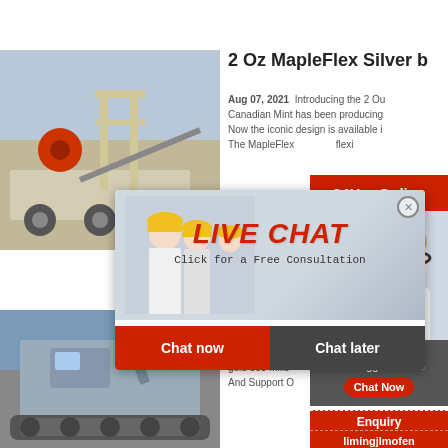[Figure (photo): Industrial mining/crushing equipment on a truck, outdoor setting]
2 Oz MapleFlex Silver b
Aug 07, 2021  Introducing the 2 Ounce MapleFlex. The Canadian Mint has been producing... Now the iconic design is available in... The MapleFlex...flexi
[Figure (infographic): Live Chat popup overlay with worker image, LIVE CHAT text in red, Click for a Free Consultation, Chat now and Chat later buttons]
[Figure (photo): 24Hrs Online banner with customer service representative wearing headset]
Need questions & suggestion?
Chat Now
Enquiry
limingjlmofen
[Figure (photo): Heavy construction/mining equipment - excavator or similar machinery]
Barren Tro  Ma
Barren Troy Oz  olo gold 500 mills  eb And Support O  G